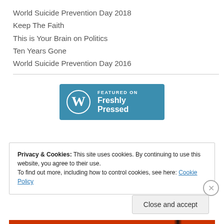World Suicide Prevention Day 2018
Keep The Faith
This is Your Brain on Politics
Ten Years Gone
World Suicide Prevention Day 2016
[Figure (logo): WordPress Featured on Freshly Pressed badge — blue rectangle with WordPress logo circle and text 'FEATURED ON Freshly Pressed']
Privacy & Cookies: This site uses cookies. By continuing to use this website, you agree to their use.
To find out more, including how to control cookies, see here: Cookie Policy
Close and accept